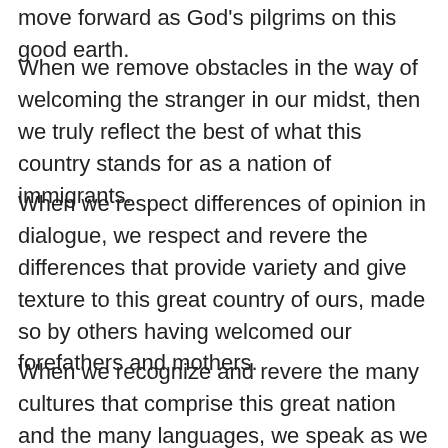move forward as God's pilgrims on this good earth.
When we remove obstacles in the way of welcoming the stranger in our midst, then we truly reflect the best of what this country stands for as a nation of immigrants.
When we respect differences of opinion in dialogue, we respect and revere the differences that provide variety and give texture to this great country of ours, made so by others having welcomed our forefathers and mothers.
When we recognize and revere the many cultures that comprise this great nation and the many languages, we speak as we seek to be one in mind and heart, then we live the gospel of good news with all peoples, to the ends of the earth.